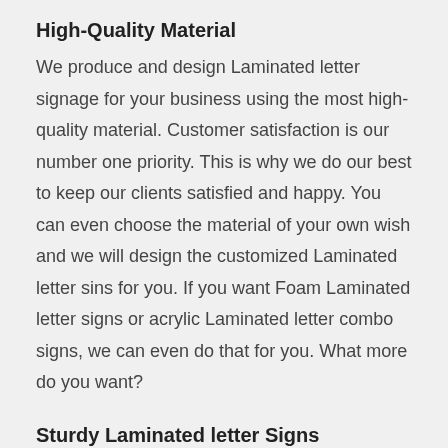High-Quality Material
We produce and design Laminated letter signage for your business using the most high-quality material. Customer satisfaction is our number one priority. This is why we do our best to keep our clients satisfied and happy. You can even choose the material of your own wish and we will design the customized Laminated letter sins for you. If you want Foam Laminated letter signs or acrylic Laminated letter combo signs, we can even do that for you. What more do you want?
Sturdy Laminated letter Signs